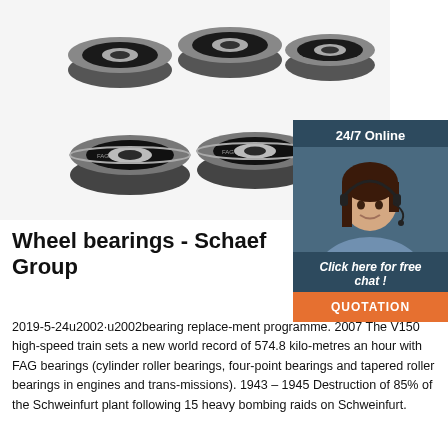[Figure (photo): Multiple black and silver ball bearings (wheel bearings) arranged on a white background, viewed from slightly above.]
[Figure (photo): 24/7 Online chat panel with a smiling woman wearing a headset, with a 'Click here for free chat!' link and an orange QUOTATION button, on a dark navy background.]
Wheel bearings - Schaeffler Group
2019-5-24u2002·u2002bearing replace-ment programme. 2007 The V150 high-speed train sets a new world record of 574.8 kilo-metres an hour with FAG bearings (cylinder roller bearings, four-point bearings and tapered roller bearings in engines and trans-missions). 1943 – 1945 Destruction of 85% of the Schweinfurt plant following 15 heavy bombing raids on Schweinfurt.